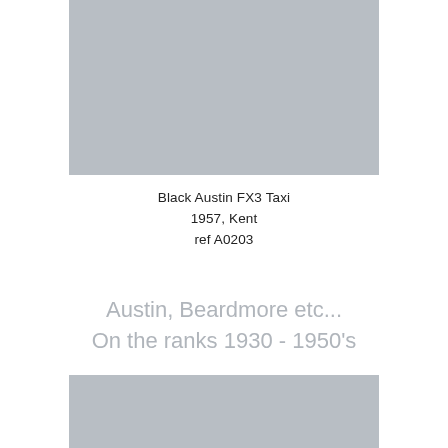[Figure (photo): Gray placeholder image for Black Austin FX3 Taxi, top photo]
Black Austin FX3 Taxi
1957, Kent
ref A0203
Austin, Beardmore etc...
On the ranks 1930 - 1950's
[Figure (photo): Gray placeholder image for Austin/Beardmore era taxi, bottom photo]